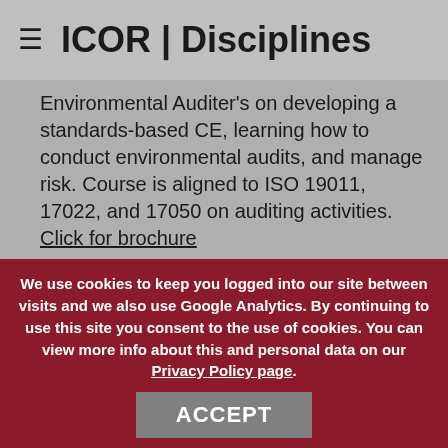ICOR | Disciplines
Environmental Auditer's on developing a standards-based CE, learning how to conduct environmental audits, and manage risk. Course is aligned to ISO 19011, 17022, and 17050 on auditing activities. Click for brochure
Individual Course Modules – See the brochure for the exact naming and numbering.
7000.1 Auditing Materials
We use cookies to keep you logged into our site between visits and we also use Google Analytics. By continuing to use this site you consent to the use of cookies. You can view more info about this and personal data on our Privacy Policy page.
ACCEPT